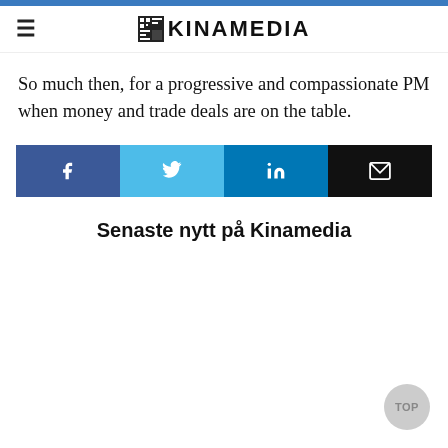KINAMEDIA
So much then, for a progressive and compassionate PM when money and trade deals are on the table.
[Figure (other): Social share buttons: Facebook (blue), Twitter (light blue), LinkedIn (teal blue), Email (black)]
Senaste nytt på Kinamedia